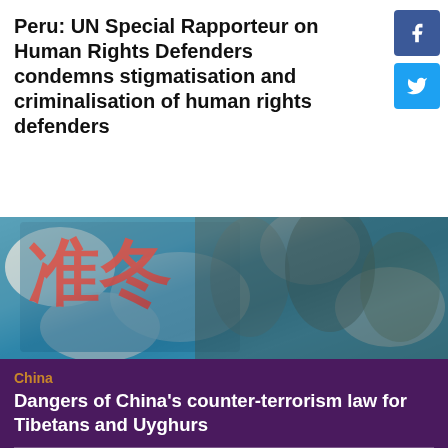Peru: UN Special Rapporteur on Human Rights Defenders condemns stigmatisation and criminalisation of human rights defenders
[Figure (photo): Soldiers in camouflage uniforms aiming rifles, standing in front of a wall with large red Chinese characters on a blue/teal camouflage-painted background.]
China
Dangers of China's counter-terrorism law for Tibetans and Uyghurs